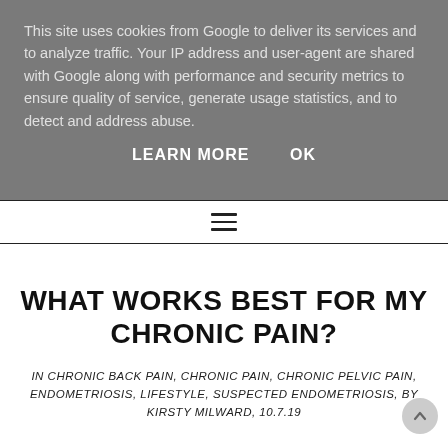This site uses cookies from Google to deliver its services and to analyze traffic. Your IP address and user-agent are shared with Google along with performance and security metrics to ensure quality of service, generate usage statistics, and to detect and address abuse.
LEARN MORE    OK
☰
WHAT WORKS BEST FOR MY CHRONIC PAIN?
IN CHRONIC BACK PAIN, CHRONIC PAIN, CHRONIC PELVIC PAIN, ENDOMETRIOSIS, LIFESTYLE, SUSPECTED ENDOMETRIOSIS, BY KIRSTY MILWARD, 10.7.19